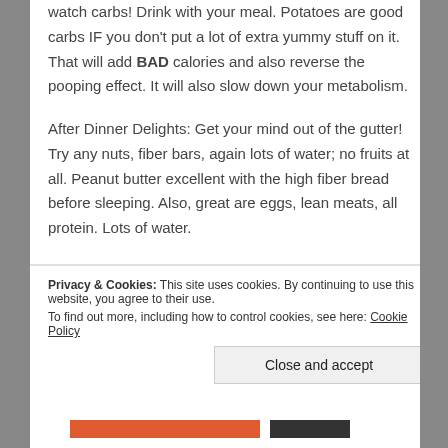watch carbs! Drink with your meal. Potatoes are good carbs IF you don't put a lot of extra yummy stuff on it. That will add BAD calories and also reverse the pooping effect. It will also slow down your metabolism.
After Dinner Delights: Get your mind out of the gutter! Try any nuts, fiber bars, again lots of water; no fruits at all. Peanut butter excellent with the high fiber bread before sleeping. Also, great are eggs, lean meats, all protein. Lots of water.
You want to keep your metabolism jacked up, rockin' n
Privacy & Cookies: This site uses cookies. By continuing to use this website, you agree to their use.
To find out more, including how to control cookies, see here: Cookie Policy
Close and accept